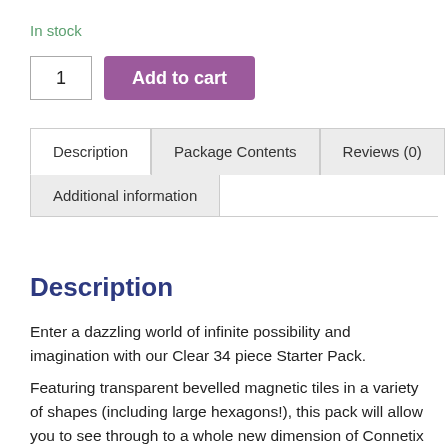In stock
1   Add to cart
Description   Package Contents   Reviews (0)   Additional information
Description
Enter a dazzling world of infinite possibility and imagination with our Clear 34 piece Starter Pack.
Featuring transparent bevelled magnetic tiles in a variety of shapes (including large hexagons!), this pack will allow you to see through to a whole new dimension of Connetix play. Unleash your creativity to construct inspired designs from Frozen castles,